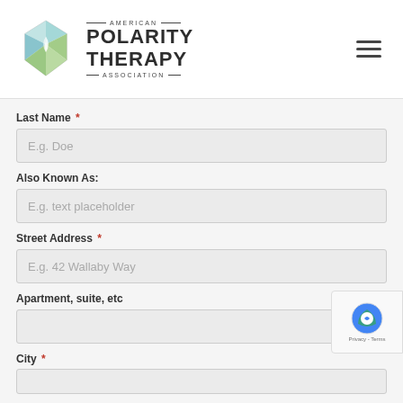[Figure (logo): American Polarity Therapy Association logo with geometric gem graphic and text]
Last Name *
E.g. Doe
Also Known As:
E.g. text placeholder
Street Address *
E.g. 42 Wallaby Way
Apartment, suite, etc
City *